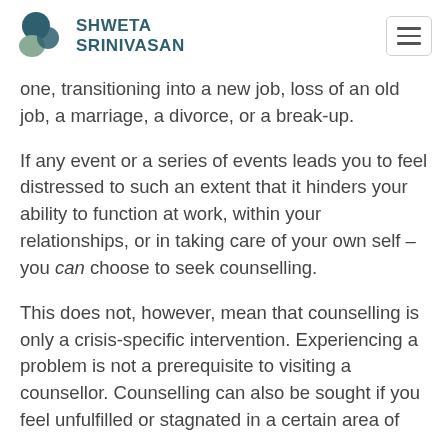SHWETA SRINIVASAN
one, transitioning into a new job, loss of an old job, a marriage, a divorce, or a break-up.
If any event or a series of events leads you to feel distressed to such an extent that it hinders your ability to function at work, within your relationships, or in taking care of your own self – you can choose to seek counselling.
This does not, however, mean that counselling is only a crisis-specific intervention. Experiencing a problem is not a prerequisite to visiting a counsellor. Counselling can also be sought if you feel unfulfilled or stagnated in a certain area of life, if you would like to work on your potential for